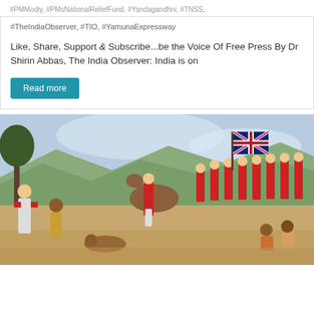#PMModiy, #PMsNationalReliefFund, #Yandagandhni, #TNSS
#TheIndiaObserver, #TIO, #YamunaExpressway
Like, Share, Support & Subscribe...be the Voice Of Free Press By Dr Shirin Abbas, The India Observer: India is on
Read more
[Figure (illustration): Historical painting depicting British colonial soldiers in red uniforms carrying a Union Jack flag, alongside Indian soldiers and local people in a battle or conquest scene, set in a tropical landscape.]